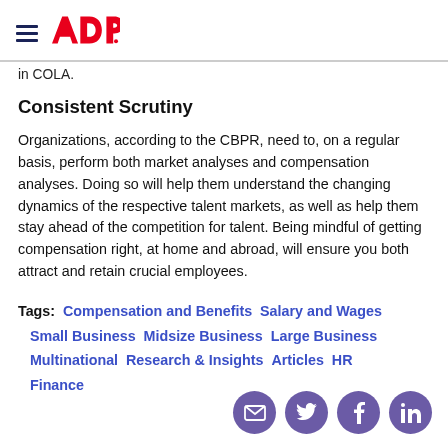ADP (logo with hamburger menu)
in COLA.
Consistent Scrutiny
Organizations, according to the CBPR, need to, on a regular basis, perform both market analyses and compensation analyses. Doing so will help them understand the changing dynamics of the respective talent markets, as well as help them stay ahead of the competition for talent. Being mindful of getting compensation right, at home and abroad, will ensure you both attract and retain crucial employees.
Tags: Compensation and Benefits  Salary and Wages  Small Business  Midsize Business  Large Business  Multinational  Research & Insights  Articles  HR  Finance
[Figure (infographic): Social sharing icons: email, Twitter, Facebook, LinkedIn in purple circles]